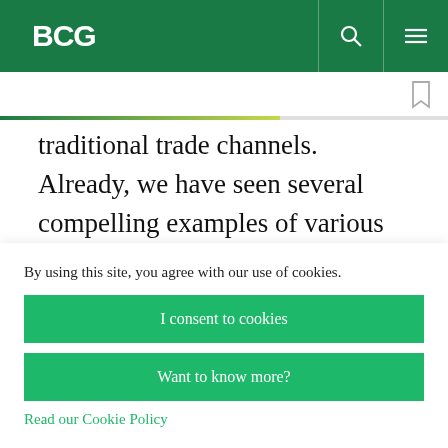BCG
traditional trade channels. Already, we have seen several compelling examples of various companies seizing growth opportunities in these forgotten channels.

With regard to supply chain management, we are also
By using this site, you agree with our use of cookies.
I consent to cookies
Want to know more?
Read our Cookie Policy